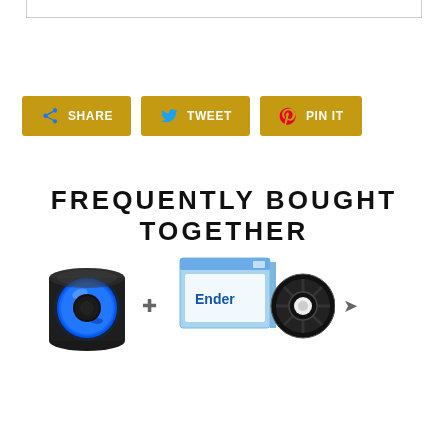[Figure (screenshot): Bottom edge of a bordered box at the top of the page]
[Figure (infographic): Three social sharing buttons: Share (Facebook), Tweet (Twitter), Pin It (Pinterest) in gold/yellow color]
FREQUENTLY BOUGHT TOGETHER
[Figure (photo): Blue transparent PETG/silk filament spool on a black hub, product image for 3D printing filament]
[Figure (photo): Ender brand filament spool with blue box packaging and black filament reel, product image]